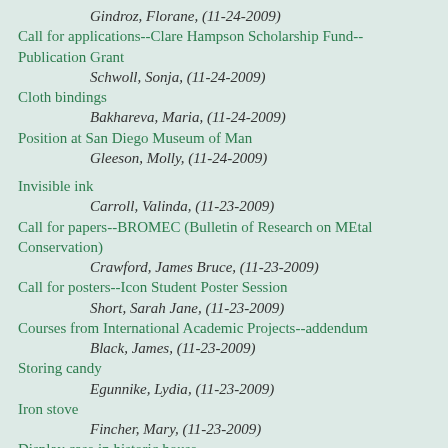Gindroz, Florane, (11-24-2009)
Call for applications--Clare Hampson Scholarship Fund--Publication Grant
Schwoll, Sonja, (11-24-2009)
Cloth bindings
Bakhareva, Maria, (11-24-2009)
Position at San Diego Museum of Man
Gleeson, Molly, (11-24-2009)
Invisible ink
Carroll, Valinda, (11-23-2009)
Call for papers--BROMEC (Bulletin of Research on MEtal Conservation)
Crawford, James Bruce, (11-23-2009)
Call for posters--Icon Student Poster Session
Short, Sarah Jane, (11-23-2009)
Courses from International Academic Projects--addendum
Black, James, (11-23-2009)
Storing candy
Egunnike, Lydia, (11-23-2009)
Iron stove
Fincher, Mary, (11-23-2009)
Display case in historic house
Price, Emily, (11-23-2009)
Fellowship at Harvard